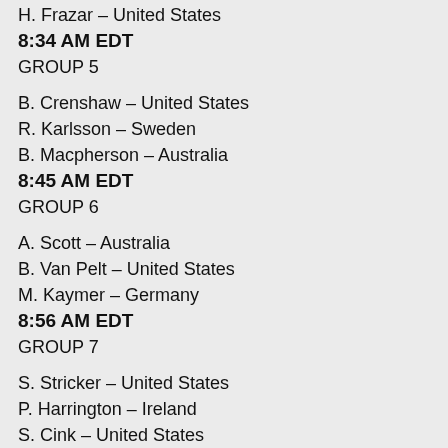H. Frazar – United States
8:34 AM EDT
GROUP 5
B. Crenshaw – United States
R. Karlsson – Sweden
B. Macpherson – Australia
8:45 AM EDT
GROUP 6
A. Scott – Australia
B. Van Pelt – United States
M. Kaymer – Germany
8:56 AM EDT
GROUP 7
S. Stricker – United States
P. Harrington – Ireland
S. Cink – United States
9:07 AM EDT